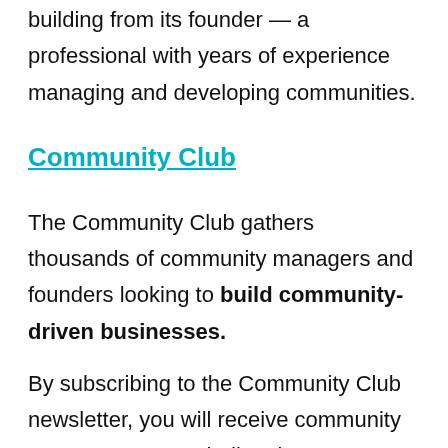building from its founder — a professional with years of experience managing and developing communities.
Community Club
The Community Club gathers thousands of community managers and founders looking to build community-driven businesses.
By subscribing to the Community Club newsletter, you will receive community content every week directly to your inbox. Their emails include many insights and tips on engagement, moderation